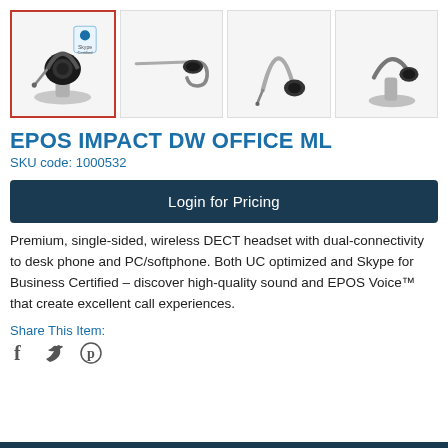[Figure (photo): Four product thumbnail images of the EPOS IMPACT DW OFFICE ML headset from different angles. First image (selected, red border) shows headset on charging stand with packaging badge. Second shows side profile of the ear hook. Third shows the headset upright. Fourth shows headset on charger stand.]
EPOS IMPACT DW OFFICE ML
SKU code: 1000532
Login for Pricing
Premium, single-sided, wireless DECT headset with dual-connectivity to desk phone and PC/softphone. Both UC optimized and Skype for Business Certified – discover high-quality sound and EPOS Voice™ that create excellent call experiences.
Share This Item:
[Figure (illustration): Social media icons: Facebook (f), Twitter (bird), Pinterest (P)]